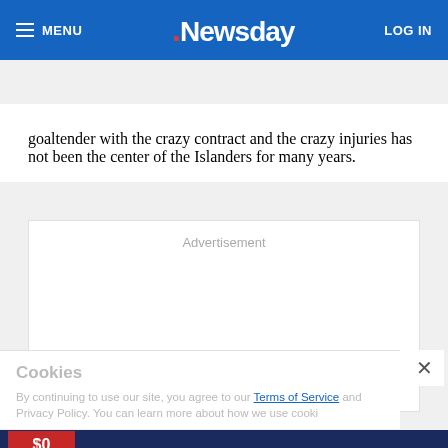MENU | Newsday | LOG IN
SUBSCRIBE $1 FOR 5 MONTHS
goaltender with the crazy contract and the crazy injuries has not been the center of the Islanders for many years.
[Figure (other): Advertisement placeholder box]
Cookies
By continuing to use our site, you agree to our Terms of Service and Privacy Policy. You can learn more about how we use cookies
[Figure (other): Westbury New 2022 Jeep advertisement banner with $0 down payment offer]